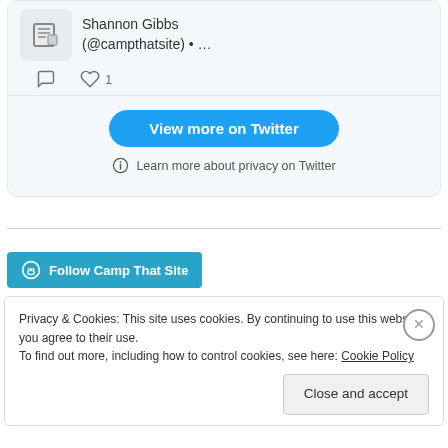[Figure (screenshot): Partial Twitter embed card showing Shannon Gibbs (@campthatsite) with a document icon, comment and like (1) actions, a 'View more on Twitter' button, and a 'Learn more about privacy on Twitter' link.]
[Figure (screenshot): Follow Camp That Site button with WordPress logo icon on a teal background.]
Privacy & Cookies: This site uses cookies. By continuing to use this website, you agree to their use. To find out more, including how to control cookies, see here: Cookie Policy
Close and accept